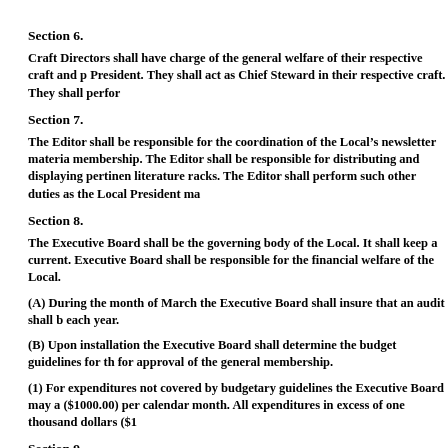Section 6.
Craft Directors shall have charge of the general welfare of their respective craft and p President. They shall act as Chief Steward in their respective craft. They shall perfor
Section 7.
The Editor shall be responsible for the coordination of the Local’s newsletter materia membership. The Editor shall be responsible for distributing and displaying pertinen literature racks. The Editor shall perform such other duties as the Local President ma
Section 8.
The Executive Board shall be the governing body of the Local. It shall keep a current. Executive Board shall be responsible for the financial welfare of the Local.
(A) During the month of March the Executive Board shall insure that an audit shall b each year.
(B) Upon installation the Executive Board shall determine the budget guidelines for th for approval of the general membership.
(1) For expenditures not covered by budgetary guidelines the Executive Board may a ($1000.00) per calendar month. All expenditures in excess of one thousand dollars ($1
Section 9.
Local officers' salaries shall be paid on a monthly basis at the following rates: